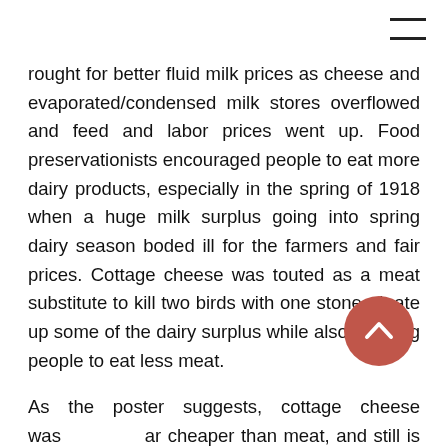rought for better fluid milk prices as cheese and evaporated/condensed milk stores overflowed and feed and labor prices went up. Food preservationists encouraged people to eat more dairy products, especially in the spring of 1918 when a huge milk surplus going into spring dairy season boded ill for the farmers and fair prices. Cottage cheese was touted as a meat substitute to kill two birds with one stone - it ate up some of the dairy surplus while also allowing people to eat less meat.
As the poster suggests, cottage cheese was far cheaper than meat, and still is today, although the gap has closed somewhat. The current national average price for a pound of ground beef is $5.41, and in April, 2022